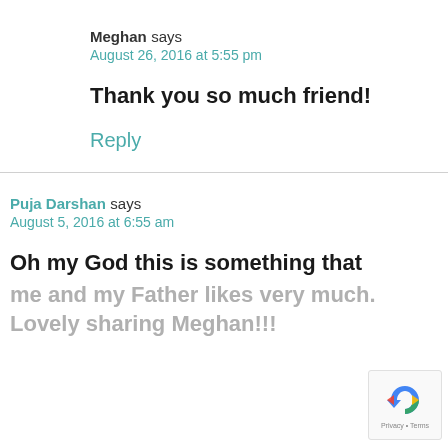Meghan says
August 26, 2016 at 5:55 pm
Thank you so much friend!
Reply
Puja Darshan says
August 5, 2016 at 6:55 am
Oh my God this is something that me and my Father likes very much. Lovely sharing Meghan!!!